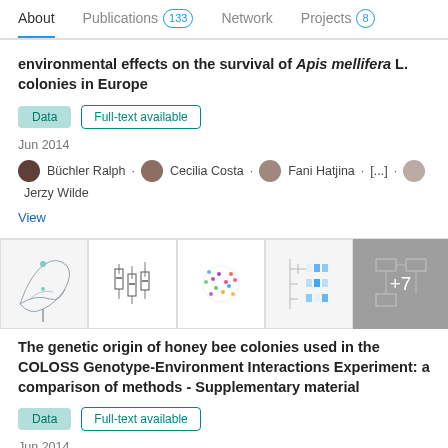About | Publications 133 | Network | Projects 8
environmental effects on the survival of Apis mellifera L. colonies in Europe
Data | Full-text available
Jun 2014
Büchler Ralph · Cecilia Costa · Fani Hatjina · [...] · Jerzy Wilde
View
[Figure (screenshot): Strip of 5 thumbnail images showing scientific figures including morphology diagrams, box plots, scatter/network plots, a dendrogram, and a schematic with +7 overlay]
The genetic origin of honey bee colonies used in the COLOSS Genotype-Environment Interactions Experiment: a comparison of methods - Supplementary material
Data | Full-text available
Jun 2014